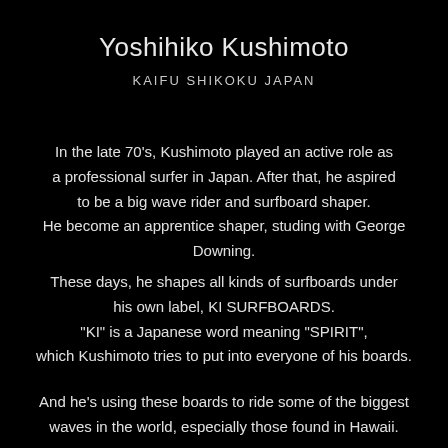Yoshihiko Kushimoto
KAIFU SHIKOKU JAPAN
In the late 70's, Kushimoto played an active role as a professional surfer in Japan. After that, he aspired to be a big wave rider and surfboard shaper. He become an apprentice shaper, studing with George Downing.
These days, he shapes all kinds of surfboards under his own label, KI SURFBOARDS. "KI" is a Japanese word meaning "SPIRIT", which Kushimoto tries to put into everyone of his boards.
And he's using these boards to ride some of the biggest waves in the world, especially those found in Hawaii.